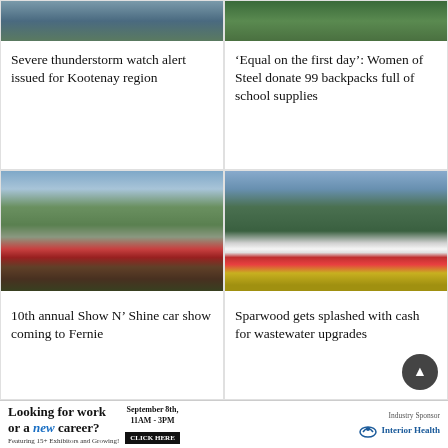[Figure (photo): Stormy sky over Kootenay region landscape]
Severe thunderstorm watch alert issued for Kootenay region
[Figure (photo): People in green shirts at a school supplies event]
‘Equal on the first day’: Women of Steel donate 99 backpacks full of school supplies
[Figure (photo): Aerial view of Fernie with cars and church at a car show event]
10th annual Show N’ Shine car show coming to Fernie
[Figure (photo): Sparwood flag and Canadian flags on flagpoles with forested mountain behind]
Sparwood gets splashed with cash for wastewater upgrades
Looking for work or a new career? Featuring 15+ Exhibitors and Growing! September 8th, 11AM - 3PM CLICK HERE Industry Sponsor Interior Health